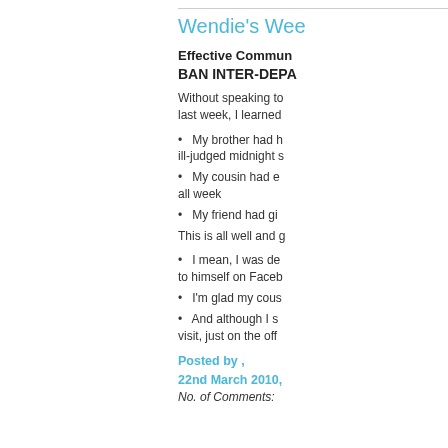Wendie's Wee
Effective Commun
BAN INTER-DEPA
Without speaking to last week, I learned
My brother had h ill-judged midnight s
My cousin had e all week
My friend had gi
This is all well and g
I mean, I was de to himself on Faceb
I'm glad my cous
And although I s visit, just on the off
Posted by ,
22nd March 2010,
No. of Comments: